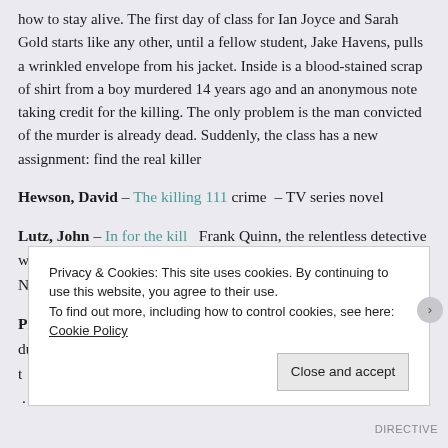how to stay alive. The first day of class for Ian Joyce and Sarah Gold starts like any other, until a fellow student, Jake Havens, pulls a wrinkled envelope from his jacket. Inside is a blood-stained scrap of shirt from a boy murdered 14 years ago and an anonymous note taking credit for the killing. The only problem is the man convicted of the murder is already dead. Suddenly, the class has a new assignment: find the real killer
Hewson, David – The killing 111 crime – TV series novel
Lutz, John – In for the kill  Frank Quinn, the relentless detective who made his debut in John Lutz's acclaimed novel 'Darker than Night', faces his toughest and most personal case yet
Pilkington, Paul – The one you love  Days before their wedding, during t... h... .
Privacy & Cookies: This site uses cookies. By continuing to use this website, you agree to their use.
To find out more, including how to control cookies, see here: Cookie Policy
Close and accept